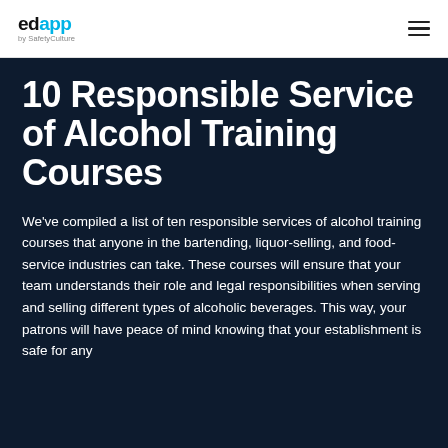edapp by SafetyCulture
10 Responsible Service of Alcohol Training Courses
We've compiled a list of ten responsible services of alcohol training courses that anyone in the bartending, liquor-selling, and food-service industries can take. These courses will ensure that your team understands their role and legal responsibilities when serving and selling different types of alcoholic beverages. This way, your patrons will have peace of mind knowing that your establishment is safe for any